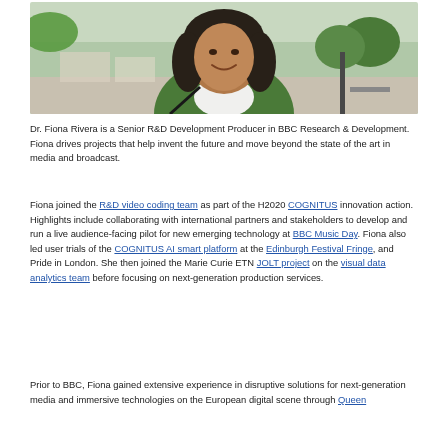[Figure (photo): Portrait photo of Dr. Fiona Rivera, a woman with dark shoulder-length hair wearing a green jacket and white top, smiling outdoors in an urban plaza setting.]
Dr. Fiona Rivera is a Senior R&D Development Producer in BBC Research & Development. Fiona drives projects that help invent the future and move beyond the state of the art in media and broadcast.
Fiona joined the R&D video coding team as part of the H2020 COGNITUS innovation action. Highlights include collaborating with international partners and stakeholders to develop and run a live audience-facing pilot for new emerging technology at BBC Music Day. Fiona also led user trials of the COGNITUS AI smart platform at the Edinburgh Festival Fringe, and Pride in London. She then joined the Marie Curie ETN JOLT project on the visual data analytics team before focusing on next-generation production services.
Prior to BBC, Fiona gained extensive experience in disruptive solutions for next-generation media and immersive technologies on the European digital scene through Queen...